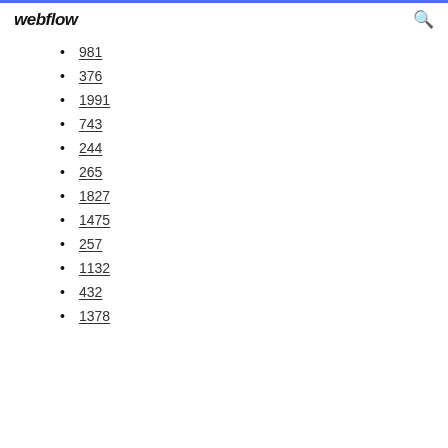webflow
981
376
1991
743
244
265
1827
1475
257
1132
432
1378